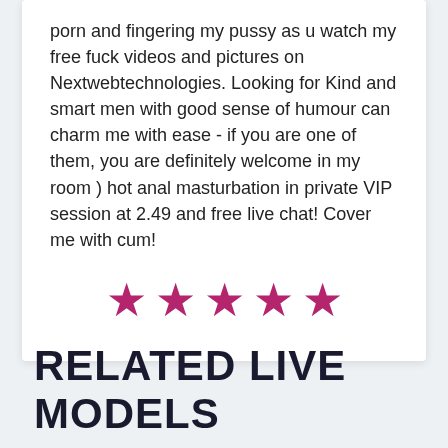porn and fingering my pussy as u watch my free fuck videos and pictures on Nextwebtechnologies. Looking for Kind and smart men with good sense of humour can charm me with ease - if you are one of them, you are definitely welcome in my room ) hot anal masturbation in private VIP session at 2.49 and free live chat! Cover me with cum!
[Figure (other): Five pink/magenta star rating icons displayed in a row, indicating a 5-star rating.]
RELATED LIVE MODELS